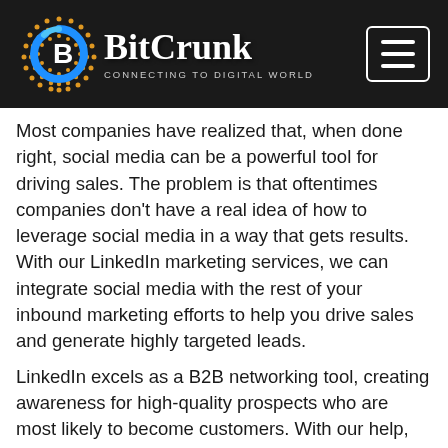[Figure (logo): BitCrunk logo with globe icon and tagline 'CONNECTING TO DIGITAL WORLD' on dark background header, with hamburger menu button on the right]
Most companies have realized that, when done right, social media can be a powerful tool for driving sales. The problem is that oftentimes companies don't have a real idea of how to leverage social media in a way that gets results. With our LinkedIn marketing services, we can integrate social media with the rest of your inbound marketing efforts to help you drive sales and generate highly targeted leads. LinkedIn excels as a B2B networking tool, creating awareness for high-quality prospects who are most likely to become customers. With our help, you can harness LinkedIn's full potential by targeting decision makers based on their specific industries, the size of their company, or their interest in specialized topics. We develop strategies that allow you to find and connect with these prospects in a more natural way.